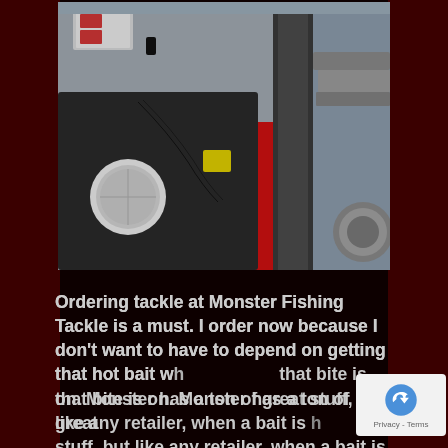[Figure (photo): Close-up photo of a fishing boat's interior showing equipment, cables, a round white cap, red body panel, and metal trolling motor or bracket on the right side. Various tackle items visible in background.]
Ordering tackle at Monster Fishing Tackle is a must. I order now because I don't want to have to depend on getting that hot bait w... that bite is on. Monster has a ton of great stuff, but like any retailer, when a bait is h...